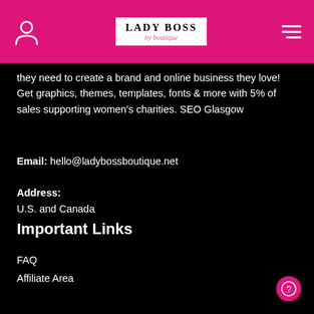Lady Boss by boutique [header with logo, user icon, and menu]
they need to create a brand and online business they love! Get graphics, themes, templates, fonts & more with 5% of sales supporting women's charities. SEO Glasgow
Email: hello@ladybossboutique.net
Address:
U.S. and Canada
Important Links
FAQ
Affiliate Area